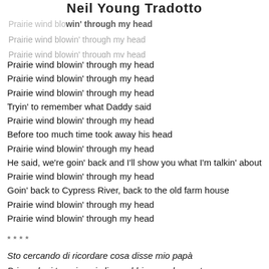Neil Young Tradotto
Prairie wind blowin' through my head
Prairie wind blowin' through my head
Prairie wind blowin' through my head
Prairie wind blowin' through my head
Prairie wind blowin' through my head
Tryin' to remember what Daddy said
Prairie wind blowin' through my head
Before too much time took away his head
Prairie wind blowin' through my head
He said, we're goin' back and I'll show you what I'm talkin' about
Prairie wind blowin' through my head
Goin' back to Cypress River, back to the old farm house
Prairie wind blowin' through my head
Prairie wind blowin' through my head
* * * *
Sto cercando di ricordare cosa disse mio papà
Prima che i troppi anni gli annebbiassero la mente
Disse, stiamo tornando indietro e ti mostrerò di cosa sto parlando